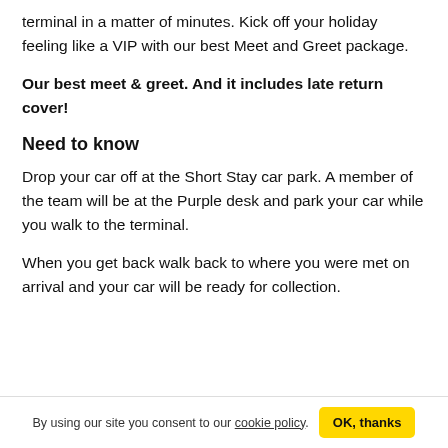terminal in a matter of minutes. Kick off your holiday feeling like a VIP with our best Meet and Greet package.
Our best meet & greet. And it includes late return cover!
Need to know
Drop your car off at the Short Stay car park. A member of the team will be at the Purple desk and park your car while you walk to the terminal.
When you get back walk back to where you were met on arrival and your car will be ready for collection.
By using our site you consent to our cookie policy. OK, thanks